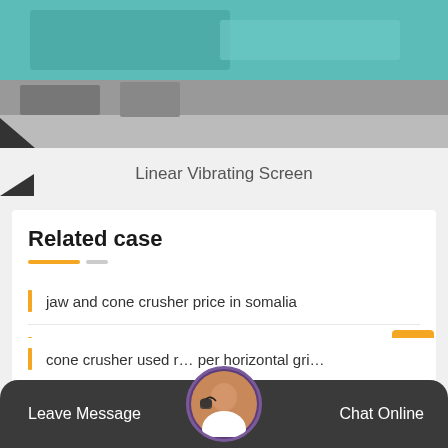[Figure (photo): Top portion of a machine (Linear Vibrating Screen) with teal/turquoise colored equipment visible, industrial machinery photo]
Linear Vibrating Screen
Related case
jaw and cone crusher price in somalia
new 24 cs cone crusher price
efficiency cone crushing station in ajman hena…
cone crusher used r… per horizontal gri…
Leave Message   Chat Online